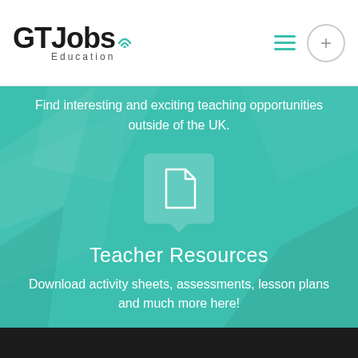[Figure (logo): GTJobs Education logo with teal wifi-style icon above the 's' in Jobs, and 'Education' subtitle]
[Figure (other): Hamburger menu icon (three teal horizontal lines) and a circular plus button]
Find interesting and exciting teaching opportunities outside of the UK.
[Figure (illustration): Document/file icon in a rounded teal rectangle with a speech-bubble pointer]
Teacher Resources
Download activity sheets, assessments, lesson plans and much more here!